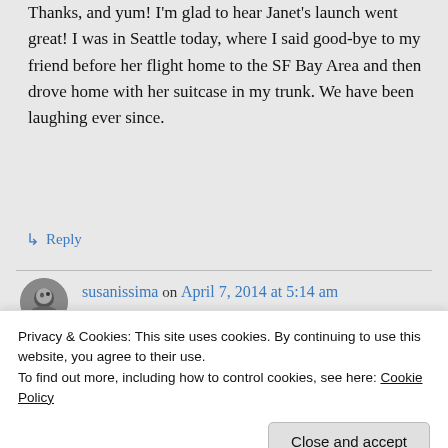Thanks, and yum! I'm glad to hear Janet's launch went great! I was in Seattle today, where I said good-bye to my friend before her flight home to the SF Bay Area and then drove home with her suitcase in my trunk. We have been laughing ever since.
↳ Reply
susanissima on April 7, 2014 at 5:14 am
Privacy & Cookies: This site uses cookies. By continuing to use this website, you agree to their use.
To find out more, including how to control cookies, see here: Cookie Policy
Close and accept
↳ Reply